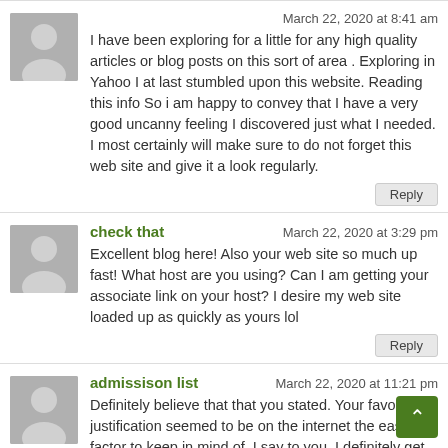March 22, 2020 at 8:41 am
I have been exploring for a little for any high quality articles or blog posts on this sort of area . Exploring in Yahoo I at last stumbled upon this website. Reading this info So i am happy to convey that I have a very good uncanny feeling I discovered just what I needed. I most certainly will make sure to do not forget this web site and give it a look regularly.
Reply
check that
March 22, 2020 at 3:29 pm
Excellent blog here! Also your web site so much up fast! What host are you using? Can I am getting your associate link on your host? I desire my web site loaded up as quickly as yours lol
Reply
admissison list
March 22, 2020 at 11:21 pm
Definitely believe that that you stated. Your favorite justification seemed to be on the internet the easiest factor to keep in mind of. I say to you, I definitely get annoyed at the same time as people think about issues that they just don't recognise about. You controlled to hit the nail upon the highest and defined out the whole